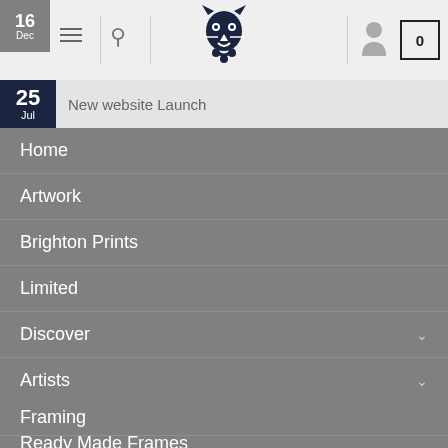[Figure (screenshot): Website header bar with hamburger menu, search icon, lion logo, user icon, and cart showing 0]
16 Dec — Christmas 2019 opening times
25 Jul — New website Launch
Home
Artwork
Brighton Prints
Limited
Discover
Artists
Rooms
Framing
Ready Made Frames